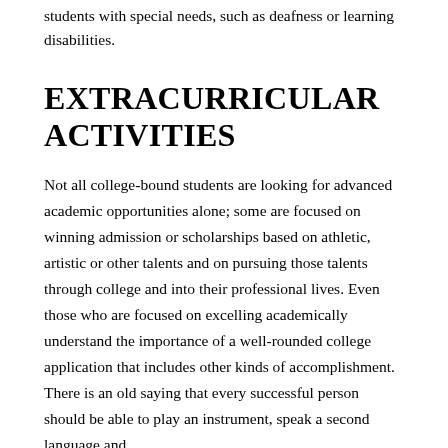students with special needs, such as deafness or learning disabilities.
EXTRACURRICULAR ACTIVITIES
Not all college-bound students are looking for advanced academic opportunities alone; some are focused on winning admission or scholarships based on athletic, artistic or other talents and on pursuing those talents through college and into their professional lives. Even those who are focused on excelling academically understand the importance of a well-rounded college application that includes other kinds of accomplishment. There is an old saying that every successful person should be able to play an instrument, speak a second language and